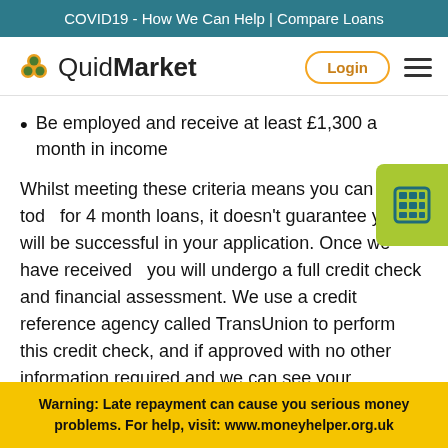COVID19 - How We Can Help | Compare Loans
[Figure (logo): QuidMarket logo with orange/green flower icon]
Be employed and receive at least £1,300 a month in income
Whilst meeting these criteria means you can apply today for 4 month loans, it doesn't guarantee you will be successful in your application. Once we have received you will undergo a full credit check and financial assessment. We use a credit reference agency called TransUnion to perform this credit check, and if approved with no other information required and we can see your affordability, we'll then pay out the 4 month loan amount straight into your bank account. Our 3 month loans are our
Warning: Late repayment can cause you serious money problems. For help, visit: www.moneyhelper.org.uk